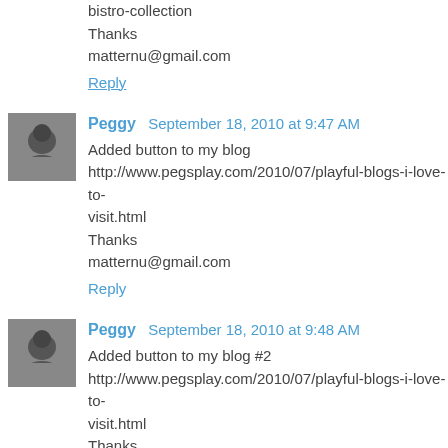bistro-collection
Thanks
matternu@gmail.com
Reply
Peggy  September 18, 2010 at 9:47 AM
Added button to my blog http://www.pegsplay.com/2010/07/playful-blogs-i-love-to-visit.html
Thanks
matternu@gmail.com
Reply
Peggy  September 18, 2010 at 9:48 AM
Added button to my blog #2 http://www.pegsplay.com/2010/07/playful-blogs-i-love-to-visit.html
Thanks
matternu@gmail.com